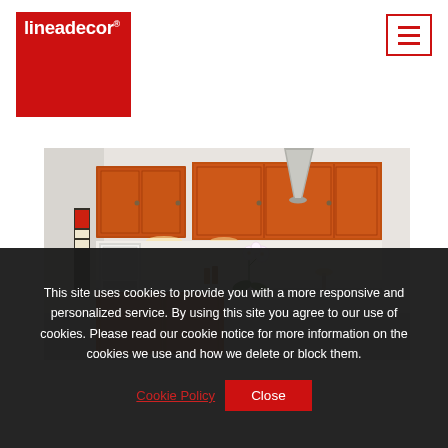[Figure (logo): lineadecor brand logo — white text on red square background]
[Figure (photo): Modern kitchen interior with orange/terracotta upper and lower cabinets, white countertop, white oven built-in, pendant gray conical lamp, white orchid plant, bottles on counter, white walls]
This site uses cookies to provide you with a more responsive and personalized service. By using this site you agree to our use of cookies. Please read our cookie notice for more information on the cookies we use and how we delete or block them.
Cookie Policy
Close